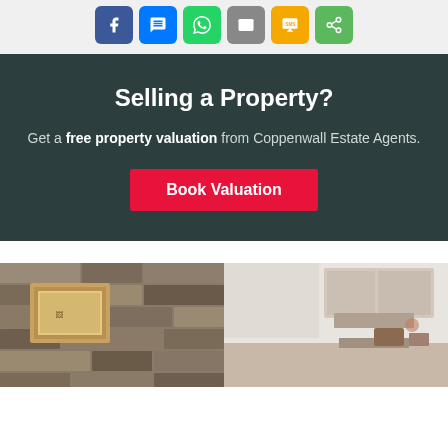[Figure (other): Social sharing buttons: Facebook, Messenger, WhatsApp, Email, SMS, Share]
Selling a Property?
Get a free property valuation from Coppenwall Estate Agents.
Book Valuation
[Figure (photo): Interior property photo showing a stone-wall feature with framed art on left, and a bright kitchen/dining area on the right]